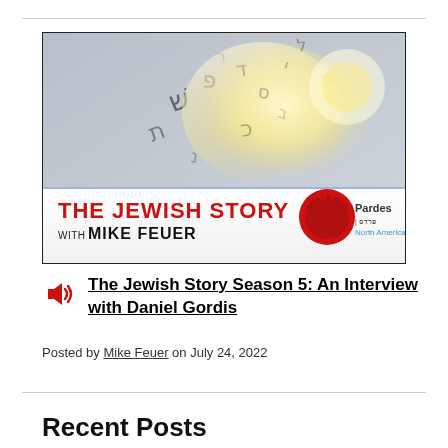[Figure (photo): Thumbnail image for 'The Jewish Story with Mike Feuer' podcast, featuring an open book with Hebrew letters floating above it and a glowing light, with the show title and Pardes North America logo.]
The Jewish Story Season 5: An Interview with Daniel Gordis
Posted by Mike Feuer on July 24, 2022
Recent Posts